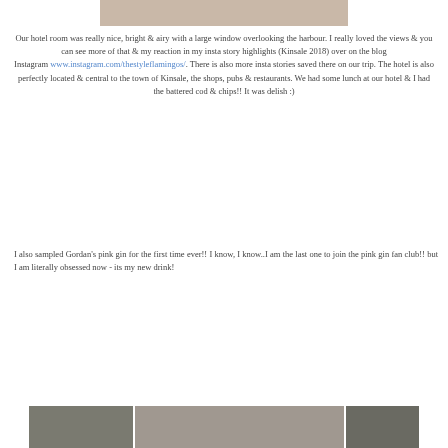[Figure (photo): Top partial image, light beige/tan color, appears to be a cropped photo]
Our hotel room was really nice, bright & airy with a large window overlooking the harbour. I really loved the views & you can see more of that & my reaction in my insta story highlights (Kinsale 2018) over on the blog Instagram www.instagram.com/thestyleflamingos/. There is also more insta stories saved there on our trip. The hotel is also perfectly located & central to the town of Kinsale, the shops, pubs & restaurants. We had some lunch at our hotel & I had the battered cod & chips!! It was delish :)
I also sampled Gordan's pink gin for the first time ever!! I know, I know..I am the last one to join the pink gin fan club!! but I am literally obsessed now - its my new drink!
[Figure (photo): Bottom partial image showing people at a table, appears to be a restaurant or social setting]